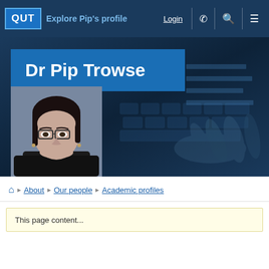QUT | Explore Pip's profile | Login
Dr Pip Trowse
[Figure (photo): Portrait photo of Dr Pip Trowse, a woman with dark hair and glasses]
[Figure (screenshot): QUT academic profile webpage screenshot showing navigation bar with login, background image of hands on keyboard]
About | Our people | Academic profiles
This page content...